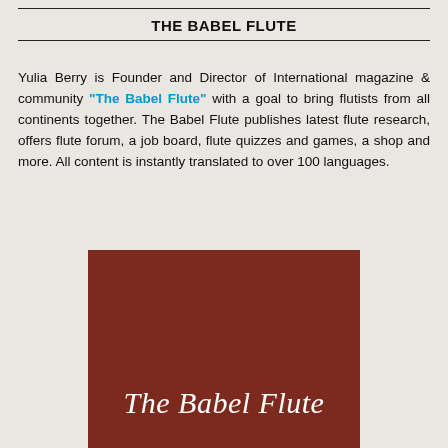THE BABEL FLUTE
Yulia Berry is Founder and Director of International magazine & community "The Babel Flute" with a goal to bring flutists from all continents together. The Babel Flute publishes latest flute research, offers flute forum, a job board, flute quizzes and games, a shop and more. All content is instantly translated to over 100 languages.
[Figure (illustration): Dark reddish-brown rectangular panel with the cursive italic text 'The Babel Flute' in white lettering centered near the bottom of the panel.]